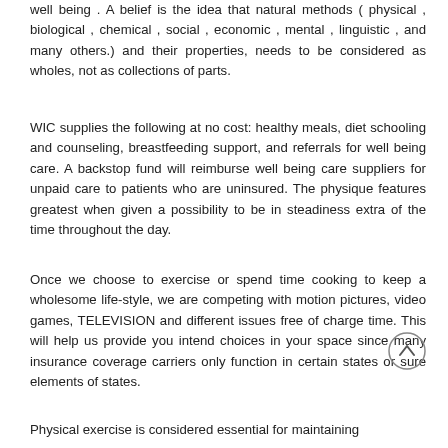well being . A belief is the idea that natural methods ( physical , biological , chemical , social , economic , mental , linguistic , and many others.) and their properties, needs to be considered as wholes, not as collections of parts.
WIC supplies the following at no cost: healthy meals, diet schooling and counseling, breastfeeding support, and referrals for well being care. A backstop fund will reimburse well being care suppliers for unpaid care to patients who are uninsured. The physique features greatest when given a possibility to be in steadiness extra of the time throughout the day.
Once we choose to exercise or spend time cooking to keep a wholesome life-style, we are competing with motion pictures, video games, TELEVISION and different issues free of charge time. This will help us provide you intend choices in your space since many insurance coverage carriers only function in certain states or sure elements of states.
Physical exercise is considered essential for maintaining